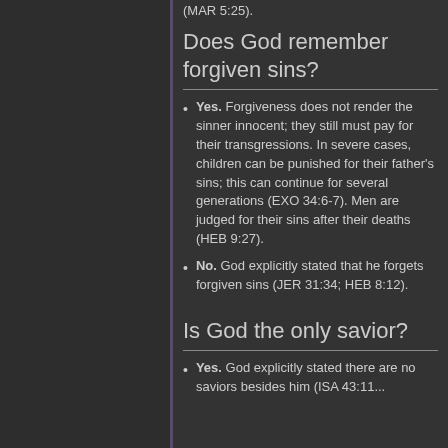(MAR 5:25).
Does God remember forgiven sins?
Yes. Forgiveness does not render the sinner innocent; they still must pay for their transgressions. In severe cases, children can be punished for their father's sins; this can continue for several generations (EXO 34:6-7). Men are judged for their sins after their deaths (HEB 9:27).
No. God explicitly stated that he forgets forgiven sins (JER 31:34; HEB 8:12).
Is God the only savior?
Yes. God explicitly stated there are no saviors besides him (ISA 43:11...